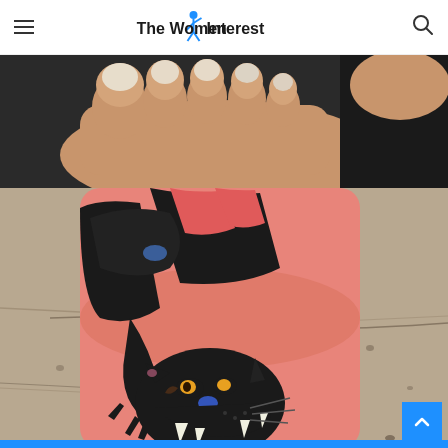The Women Interest
[Figure (photo): Close-up photo of a foot with toes showing a pedicure with light/silver nail polish, resting against a dark surface]
[Figure (photo): Close-up photo of a leg/ankle with a large traditional-style black panther tattoo. The panther wraps around the ankle and foot, showing the head with open mouth and claws at the lower portion. The skin appears reddish/irritated from fresh tattooing. Background shows a concrete surface.]